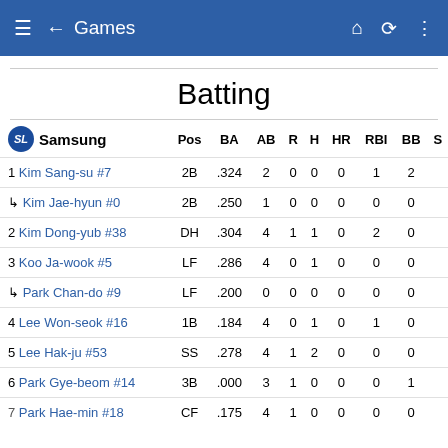≡ ← Games
Batting
|  | Pos | BA | AB | R | H | HR | RBI | BB | S |
| --- | --- | --- | --- | --- | --- | --- | --- | --- | --- |
| 1 Kim Sang-su #7 | 2B | .324 | 2 | 0 | 0 | 0 | 1 | 2 |  |
| ↳ Kim Jae-hyun #0 | 2B | .250 | 1 | 0 | 0 | 0 | 0 | 0 |  |
| 2 Kim Dong-yub #38 | DH | .304 | 4 | 1 | 1 | 0 | 2 | 0 |  |
| 3 Koo Ja-wook #5 | LF | .286 | 4 | 0 | 1 | 0 | 0 | 0 |  |
| ↳ Park Chan-do #9 | LF | .200 | 0 | 0 | 0 | 0 | 0 | 0 |  |
| 4 Lee Won-seok #16 | 1B | .184 | 4 | 0 | 1 | 0 | 1 | 0 |  |
| 5 Lee Hak-ju #53 | SS | .278 | 4 | 1 | 2 | 0 | 0 | 0 |  |
| 6 Park Gye-beom #14 | 3B | .000 | 3 | 1 | 0 | 0 | 0 | 1 |  |
| 7 Park Hae-min #18 | CF | .175 | 4 | 1 | 0 | 0 | 0 | 0 |  |